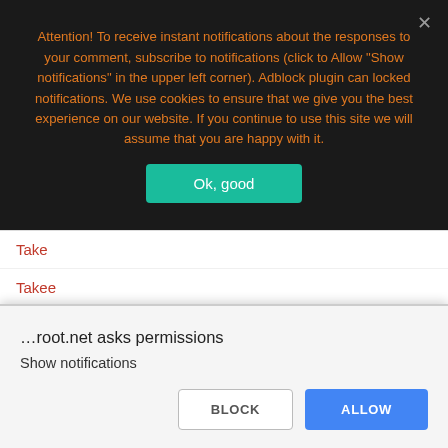Attention! To receive instant notifications about the responses to your comment, subscribe to notifications (click to Allow "Show notifications" in the upper left corner). Adblock plugin can locked notifications. We use cookies to ensure that we give you the best experience on our website. If you continue to use this site we will assume that you are happy with it.
Ok, good
Take
Takee
TechniSat
Tecmobile
Telefunken
…root.net asks permissions
Show notifications
BLOCK
ALLOW